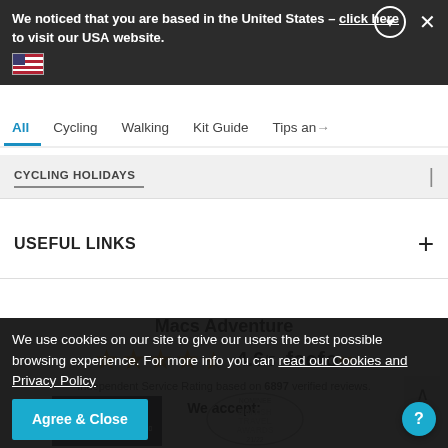We noticed that you are based in the United States - click here to visit our USA website.
All  Cycling  Walking  Kit Guide  Tips and
CYCLING HOLIDAYS
USEFUL LINKS
Macs Adventure
4.6/5 feefo Independent Service Rating based on 6897 verified reviews.
We accept:
We use cookies on our site to give our users the best possible browsing experience. For more info you can read our Cookies and Privacy Policy
Agree & Close
[Figure (logo): ABTA logo with ABTA No. Y2210]
[Figure (logo): British Travel Awards Nominee 21/22 badge]